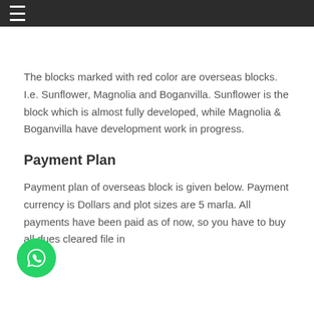≡
The blocks marked with red color are overseas blocks. I.e. Sunflower, Magnolia and Boganvilla. Sunflower is the block which is almost fully developed, while Magnolia & Boganvilla have development work in progress.
Payment Plan
Payment plan of overseas block is given below. Payment currency is Dollars and plot sizes are 5 marla. All payments have been paid as of now, so you have to buy all dues cleared file in